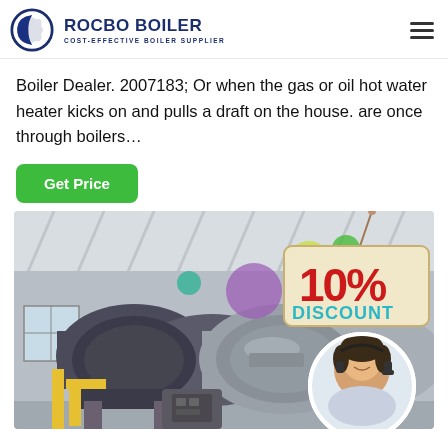[Figure (logo): Rocbo Boiler logo with circular icon and text 'ROCBO BOILER' and subtitle 'COST-EFFECTIVE BOILER SUPPLIER']
Boiler Dealer. 2007183; Or when the gas or oil hot water heater kicks on and pulls a draft on the house. are once through boilers…
[Figure (other): Green 'Get Price' button]
[Figure (photo): Industrial boiler room with large cylindrical gas/oil boilers, yellow piping, factory interior. Overlay shows '10% DISCOUNT' sign and circular portrait of a female customer service representative wearing a headset.]